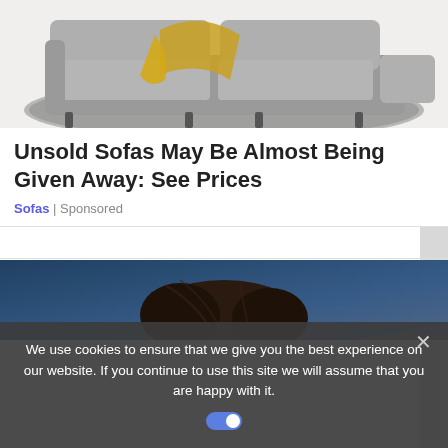[Figure (photo): Gray sectional sofa with yellow blanket/throw draped over it, on a round gray area rug, white background]
Unsold Sofas May Be Almost Being Given Away: See Prices
Sofas | Sponsored
[Figure (photo): Close-up of top of a woman's head with dark brown hair, blurred blue background]
We use cookies to ensure that we give you the best experience on our website. If you continue to use this site we will assume that you are happy with it.